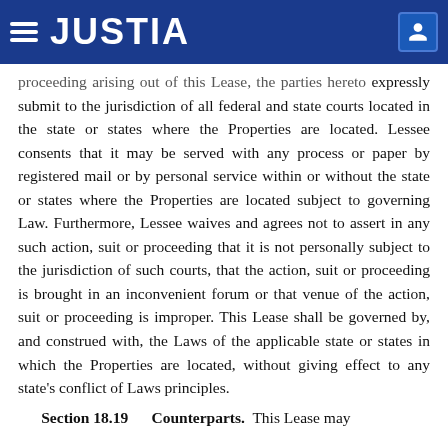JUSTIA
proceeding arising out of this Lease, the parties hereto expressly submit to the jurisdiction of all federal and state courts located in the state or states where the Properties are located. Lessee consents that it may be served with any process or paper by registered mail or by personal service within or without the state or states where the Properties are located subject to governing Law. Furthermore, Lessee waives and agrees not to assert in any such action, suit or proceeding that it is not personally subject to the jurisdiction of such courts, that the action, suit or proceeding is brought in an inconvenient forum or that venue of the action, suit or proceeding is improper. This Lease shall be governed by, and construed with, the Laws of the applicable state or states in which the Properties are located, without giving effect to any state's conflict of Laws principles.
Section 18.19      Counterparts. This Lease may